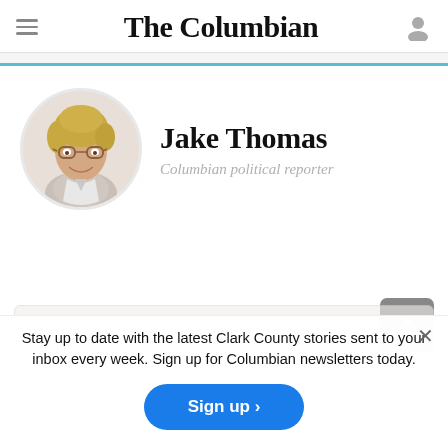The Columbian
Jake Thomas
Columbian political reporter
[Figure (photo): Circular portrait photo of Jake Thomas, a man with short blond hair and glasses, smiling, wearing a light-colored shirt and jacket]
Stay up to date with the latest Clark County stories sent to your inbox every week. Sign up for Columbian newsletters today.